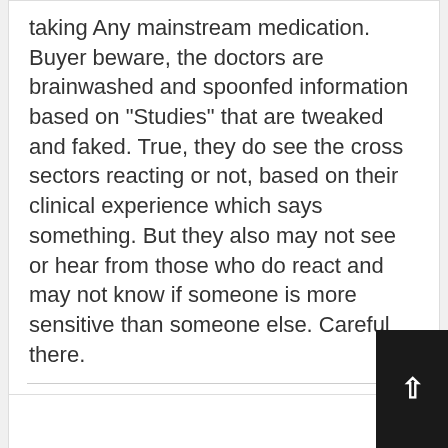taking Any mainstream medication. Buyer beware, the doctors are brainwashed and spoonfed information based on "Studies" that are tweaked and faked. True, they do see the cross sectors reacting or not, based on their clinical experience which says something. But they also may not see or hear from those who do react and may not know if someone is more sensitive than someone else. Careful there.
12/06/2019 at 8:29 am
Reply